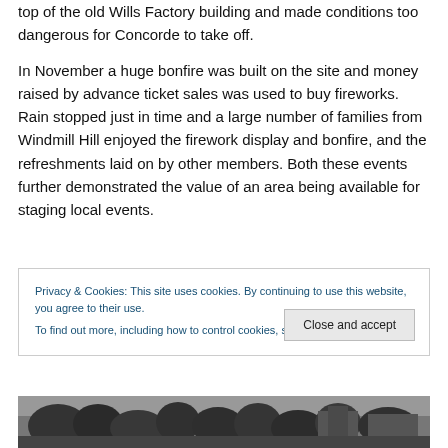top of the old Wills Factory building and made conditions too dangerous for Concorde to take off.
In November a huge bonfire was built on the site and money raised by advance ticket sales was used to buy fireworks. Rain stopped just in time and a large number of families from Windmill Hill enjoyed the firework display and bonfire, and the refreshments laid on by other members. Both these events further demonstrated the value of an area being available for staging local events.
Privacy & Cookies: This site uses cookies. By continuing to use this website, you agree to their use.
To find out more, including how to control cookies, see here: Cookie Policy
[Figure (photo): Black and white photograph showing trees and buildings at the bottom of the page]